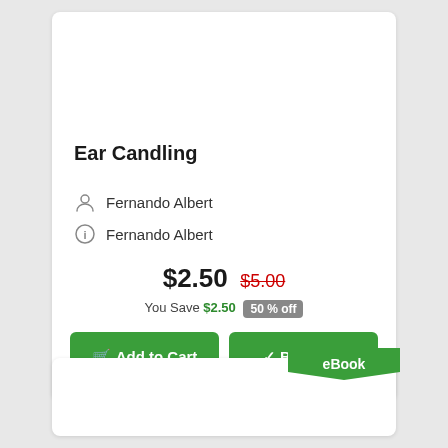Ear Candling
Fernando Albert
Fernando Albert
$2.50 $5.00
You Save $2.50 50 % off
Add to Cart
Buy Now
eBook